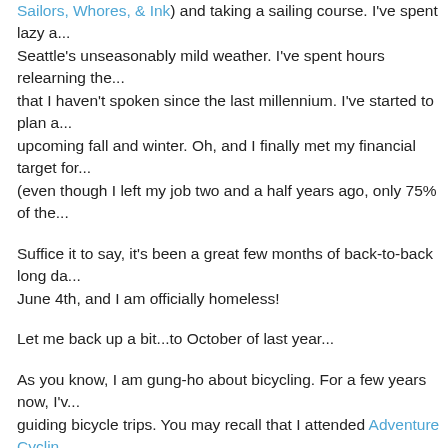Sailors, Whores, & Ink) and taking a sailing course. I've spent lazy a... Seattle's unseasonably mild weather. I've spent hours relearning the... that I haven't spoken since the last millennium. I've started to plan a... upcoming fall and winter. Oh, and I finally met my financial target for... (even though I left my job two and a half years ago, only 75% of the...
Suffice it to say, it's been a great few months of back-to-back long da... June 4th, and I am officially homeless!
Let me back up a bit...to October of last year...
As you know, I am gung-ho about bicycling. For a few years now, I'v... guiding bicycle trips. You may recall that I attended Adventure Cycling Training Class in Missoula two summers ago, on my cross-country b... OR to Portland, ME. Graduates of the class are given opportunities t... Adventure Cycling.
A little over a year after taking the class, I was contacted about leadi... with Adventure Cycling, which would take place this summer. While... to the two trips, I knew that my opportunities to guide with Adventure... limited to just a few trips a year. I wanted to fill my entire summer lea... so I looked into other guiding opportunities.
I remembered seeing a sign for "Bicycle Adventures" plastered on a... Issaquah. I had passed the sign numerous times heading to- and f-...